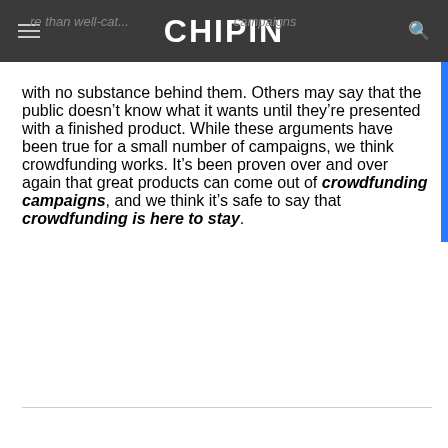CHIPIN
with no substance behind them. Others may say that the public doesn't know what it wants until they're presented with a finished product. While these arguments have been true for a small number of campaigns, we think crowdfunding works. It's been proven over and over again that great products can come out of crowdfunding campaigns, and we think it's safe to say that crowdfunding is here to stay.